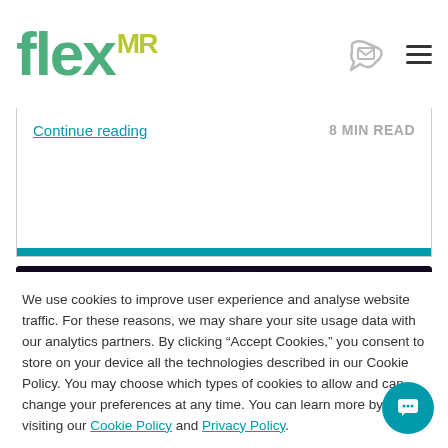flexMR
Continue reading
8 MIN READ
[Figure (photo): Close-up photo of a computer mouse with colorful LED lighting in blue, purple, and red tones on a dark background]
We use cookies to improve user experience and analyse website traffic. For these reasons, we may share your site usage data with our analytics partners. By clicking “Accept Cookies,” you consent to store on your device all the technologies described in our Cookie Policy. You may choose which types of cookies to allow and can change your preferences at any time. You can learn more by visiting our Cookie Policy and Privacy Policy.
Preferences
Accept
Decline